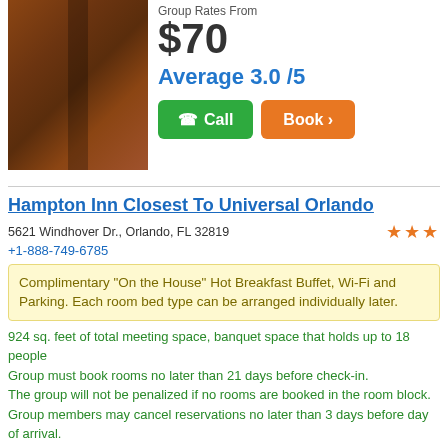[Figure (photo): Hotel room or door photo, dark wood tones]
Group Rates From
$70
Average 3.0 /5
Call
Book
Hampton Inn Closest To Universal Orlando
5621 Windhover Dr., Orlando, FL 32819
+1-888-749-6785
Complimentary "On the House" Hot Breakfast Buffet, Wi-Fi and Parking. Each room bed type can be arranged individually later.
924 sq. feet of total meeting space, banquet space that holds up to 18 people
Group must book rooms no later than 21 days before check-in.
The group will not be penalized if no rooms are booked in the room block.
Group members may cancel reservations no later than 3 days before day of arrival.
No deposit required.
[Figure (photo): Hotel room interior photo with warm lighting]
Group Rates From
$60
Average 3.0 /5